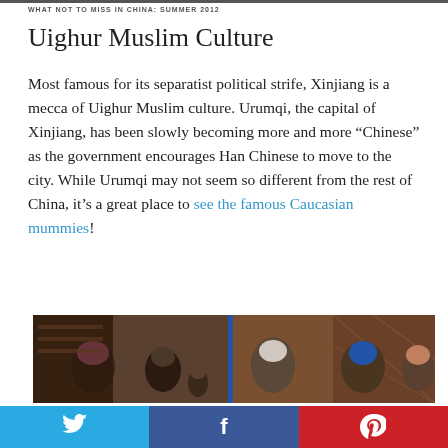WHAT NOT TO MISS IN CHINA: SUMMER 2012
Uighur Muslim Culture
Most famous for its separatist political strife, Xinjiang is a mecca of Uighur Muslim culture. Urumqi, the capital of Xinjiang, has been slowly becoming more and more “Chinese” as the government encourages Han Chinese to move to the city. While Urumqi may not seem so different from the rest of China, it’s a great place to see the famous Caucasian mummies!
[Figure (photo): A group of Uighur people gathered outdoors, with a blue pole visible in the background and a decorated building behind them. Women wear traditional head coverings.]
Twitter | Facebook | Pinterest